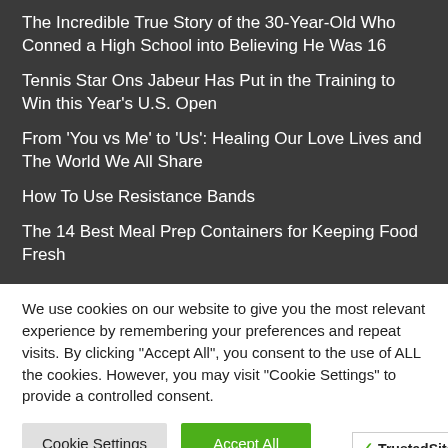The Incredible True Story of the 30-Year-Old Who Conned a High School into Believing He Was 16
Tennis Star Ons Jabeur Has Put in the Training to Win this Year's U.S. Open
From 'You vs Me' to 'Us': Healing Our Love Lives and The World We All Share
How To Use Resistance Bands
The 14 Best Meal Prep Containers for Keeping Food Fresh
We use cookies on our website to give you the most relevant experience by remembering your preferences and repeat visits. By clicking "Accept All", you consent to the use of ALL the cookies. However, you may visit "Cookie Settings" to provide a controlled consent.
Cookie Settings | Accept All
[Figure (logo): TrustedSite CERTIFIED SECURE badge with green checkmark]